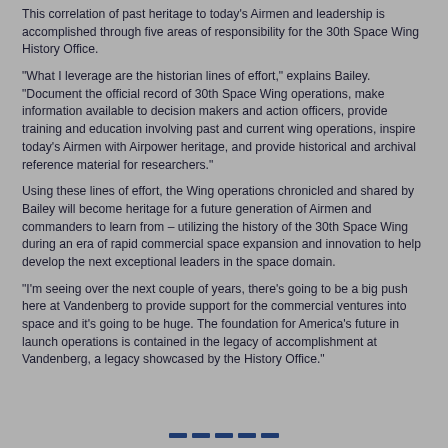This correlation of past heritage to today's Airmen and leadership is accomplished through five areas of responsibility for the 30th Space Wing History Office.
“What I leverage are the historian lines of effort,” explains Bailey. “Document the official record of 30th Space Wing operations, make information available to decision makers and action officers, provide training and education involving past and current wing operations, inspire today’s Airmen with Airpower heritage, and provide historical and archival reference material for researchers.”
Using these lines of effort, the Wing operations chronicled and shared by Bailey will become heritage for a future generation of Airmen and commanders to learn from – utilizing the history of the 30th Space Wing during an era of rapid commercial space expansion and innovation to help develop the next exceptional leaders in the space domain.
“I’m seeing over the next couple of years, there’s going to be a big push here at Vandenberg to provide support for the commercial ventures into space and it’s going to be huge. The foundation for America’s future in launch operations is contained in the legacy of accomplishment at Vandenberg, a legacy showcased by the History Office.”
— — — — —